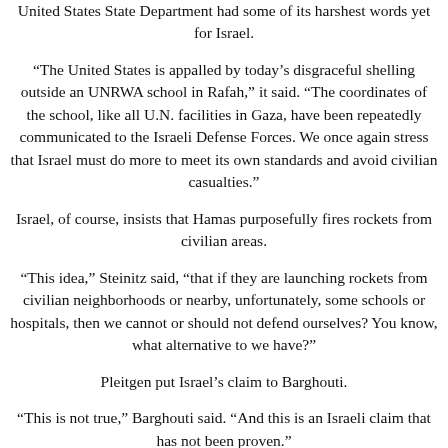United States State Department had some of its harshest words yet for Israel.
“The United States is appalled by today’s disgraceful shelling outside an UNRWA school in Rafah,” it said. “The coordinates of the school, like all U.N. facilities in Gaza, have been repeatedly communicated to the Israeli Defense Forces. We once again stress that Israel must do more to meet its own standards and avoid civilian casualties.”
Israel, of course, insists that Hamas purposefully fires rockets from civilian areas.
“This idea,” Steinitz said, “that if they are launching rockets from civilian neighborhoods or nearby, unfortunately, some schools or hospitals, then we cannot or should not defend ourselves? You know, what alternative to we have?”
Pleitgen put Israel’s claim to Barghouti.
“This is not true,” Barghouti said. “And this is an Israeli claim that has not been proven.”
Israeli Prime Minister Benjamin Netanyahu has said that a chief mission of the Israeli mission in Gaza is to destroy the extensive tunnel system that Hamas has built under the territory and into